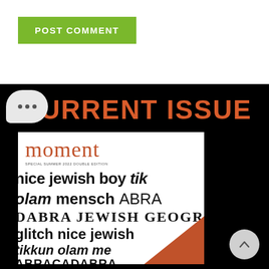POST COMMENT
[Figure (screenshot): Current Issue section on black background showing Moment magazine cover with typographic words: nice jewish boy tik, olam mensch ABRA, DABRA JEWISH GEOGR, glitch nice jewish, tikkun olam me, ABRACADABRA in various fonts]
CURRENT ISSUE